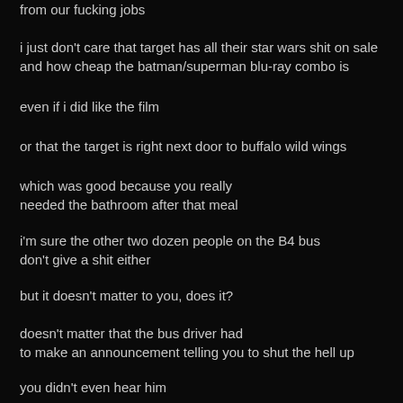from our fucking jobs
i just don't care that target has all their star wars shit on sale
and how cheap the batman/superman blu-ray combo is
even if i did like the film
or that the target is right next door to buffalo wild wings
which was good because you really
needed the bathroom after that meal
i'm sure the other two dozen people on the B4 bus
don't give a shit either
but it doesn't matter to you, does it?
doesn't matter that the bus driver had
to make an announcement telling you to shut the hell up
you didn't even hear him